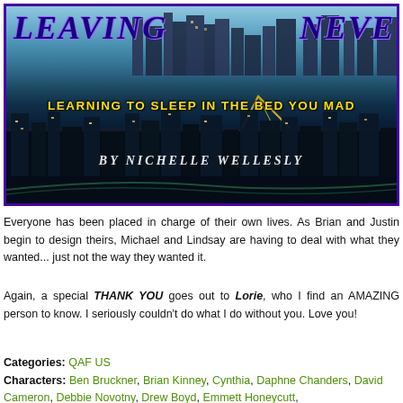[Figure (illustration): Book cover image for 'Leaving Never' by Nichelle Wellesly, showing a panoramic view of Pittsburgh skyline with rivers, bridges, city lights. Title 'LEAVING' on upper left and 'NEVER' on upper right in blue italic. Yellow subtitle 'LEARNING TO SLEEP IN THE BED YOU MADE'. Author name 'BY NICHELLE WELLESLY' centered lower portion.]
Everyone has been placed in charge of their own lives. As Brian and Justin begin to design theirs, Michael and Lindsay are having to deal with what they wanted... just not the way they wanted it.
Again, a special THANK YOU goes out to Lorie, who I find an AMAZING person to know. I seriously couldn't do what I do without you. Love you!
Categories: QAF US
Characters: Ben Bruckner, Brian Kinney, Cynthia, Daphne Chanders, David Cameron, Debbie Novotny, Drew Boyd, Emmett Honeycutt, Gardner Vance, Jennifer Taylor, Justin Taylor, Kiki, Leda, Lindsay...